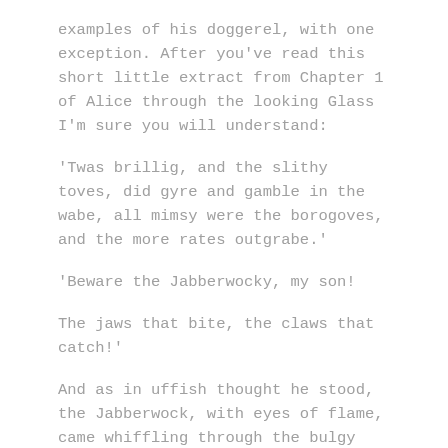examples of his doggerel, with one exception. After you've read this short little extract from Chapter 1 of Alice through the looking Glass I'm sure you will understand:
'Twas brillig, and the slithy toves, did gyre and gamble in the wabe, all mimsy were the borogoves, and the more rates outgrabe.'
'Beware the Jabberwocky, my son!
The jaws that bite, the claws that catch!'
And as in uffish thought he stood, the Jabberwock, with eyes of flame, came whiffling through the bulgy wood, and burbled as it came!